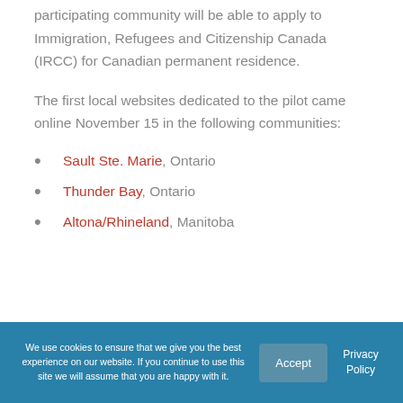participating community will be able to apply to Immigration, Refugees and Citizenship Canada (IRCC) for Canadian permanent residence.
The first local websites dedicated to the pilot came online November 15 in the following communities:
Sault Ste. Marie, Ontario
Thunder Bay, Ontario
Altona/Rhineland, Manitoba
We use cookies to ensure that we give you the best experience on our website. If you continue to use this site we will assume that you are happy with it.